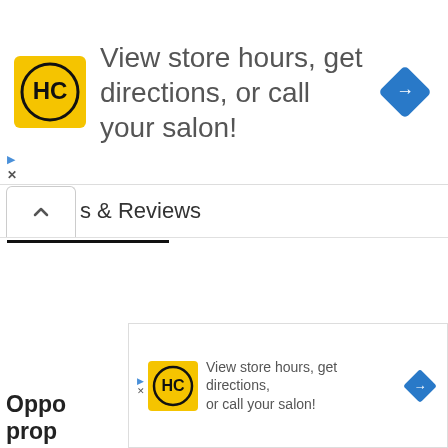[Figure (screenshot): Top advertisement banner with HC (Hair Club) logo on yellow background, text 'View store hours, get directions, or call your salon!' and a blue diamond navigation icon on the right.]
s & Reviews
[Figure (screenshot): Bottom portion showing partial text 'Oppo' and 'prop', a 'New' blue button, an X close button, and a second smaller ad banner with HC logo and same advertisement text.]